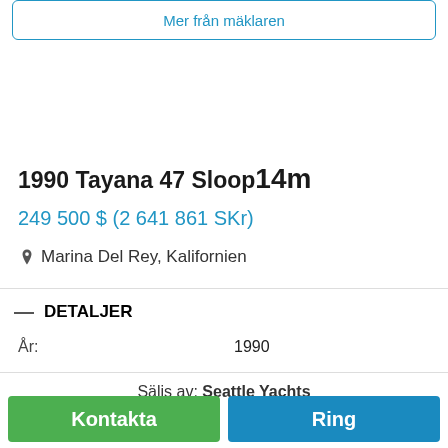Mer från mäklaren
1990 Tayana 47 Sloop 14m
249 500 $ (2 641 861 SKr)
Marina Del Rey, Kalifornien
— DETALJER
|  |  |
| --- | --- |
| År: | 1990 |
Säljs av: Seattle Yachts
Kontakta
Ring